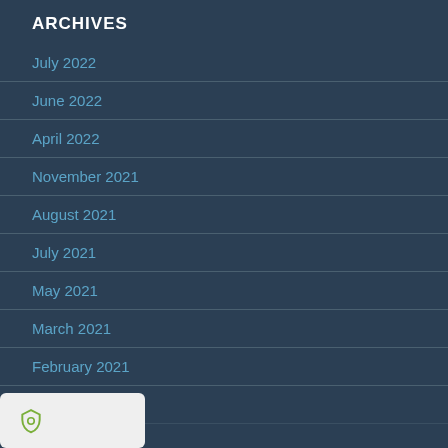ARCHIVES
July 2022
June 2022
April 2022
November 2021
August 2021
July 2021
May 2021
March 2021
February 2021
January 2021